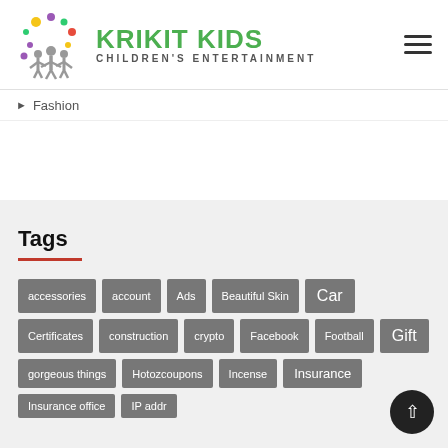[Figure (logo): Krikit Kids Children's Entertainment logo with colorful dots and figure icons]
Fashion
Tags
accessories, account, Ads, Beautiful Skin, Car, Certificates, construction, crypto, Facebook, Football, Gift, gorgeous things, Hotozcoupons, Incense, Insurance, Insurance office, IP addr...